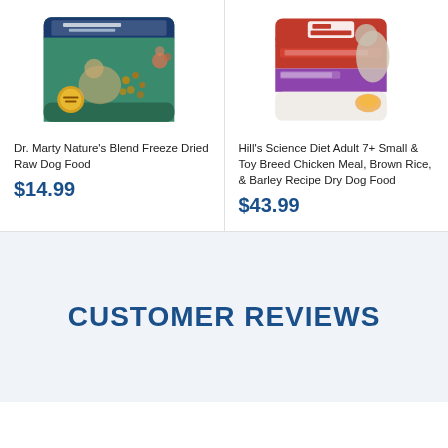[Figure (photo): Dr. Marty Nature's Blend Freeze Dried Raw Dog Food bag with dog and kibble imagery, green packaging]
Dr. Marty Nature's Blend Freeze Dried Raw Dog Food
$14.99
[Figure (photo): Hill's Science Diet Adult 7+ Small & Toy Breed Chicken Meal, Brown Rice, & Barley Recipe Dry Dog Food bag with small dog and red/yellow packaging]
Hill's Science Diet Adult 7+ Small & Toy Breed Chicken Meal, Brown Rice, & Barley Recipe Dry Dog Food
$43.99
CUSTOMER REVIEWS